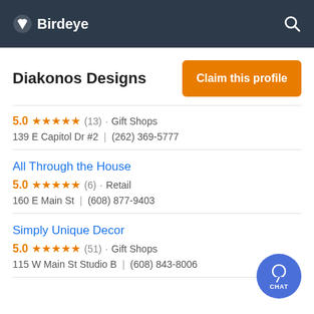Birdeye
Diakonos Designs
Claim this profile
5.0 ★★★★★ (13) · Gift Shops
139 E Capitol Dr #2  |  (262) 369-5777
All Through the House
5.0 ★★★★★ (6) · Retail
160 E Main St  |  (608) 877-9403
Simply Unique Decor
5.0 ★★★★★ (51) · Gift Shops
115 W Main St Studio B  |  (608) 843-8006